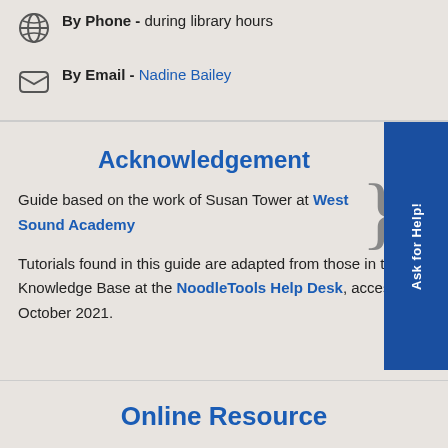By Phone - during library hours
By Email - Nadine Bailey
Acknowledgement
Guide based on the work of Susan Tower at West Sound Academy
Tutorials found in this guide are adapted from those in the Knowledge Base at the NoodleTools Help Desk, accessed October 2021.
Online Resource